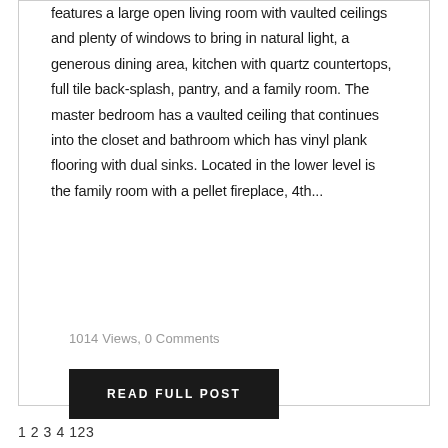features a large open living room with vaulted ceilings and plenty of windows to bring in natural light, a generous dining area, kitchen with quartz countertops, full tile back-splash, pantry, and a family room. The master bedroom has a vaulted ceiling that continues into the closet and bathroom which has vinyl plank flooring with dual sinks. Located in the lower level is the family room with a pellet fireplace, 4th...
1014 Views, 0 Comments
READ FULL POST
1 2 3 4 123